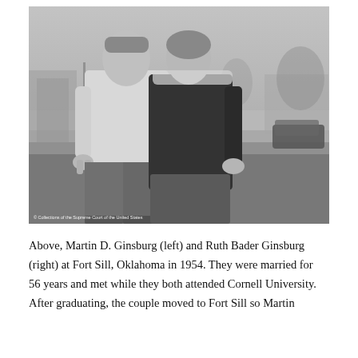[Figure (photo): Black and white photograph of two people standing outdoors. The person on the left wears a light-colored sweatshirt and dark pants. The person on the right wears a dark coat. They are standing close together with arms around each other. A lawn, street, buildings, and a car are visible in the background. Watermark at bottom left reads: © Collections of the Supreme Court of the United States.]
Above, Martin D. Ginsburg (left) and Ruth Bader Ginsburg (right) at Fort Sill, Oklahoma in 1954. They were married for 56 years and met while they both attended Cornell University. After graduating, the couple moved to Fort Sill so Martin